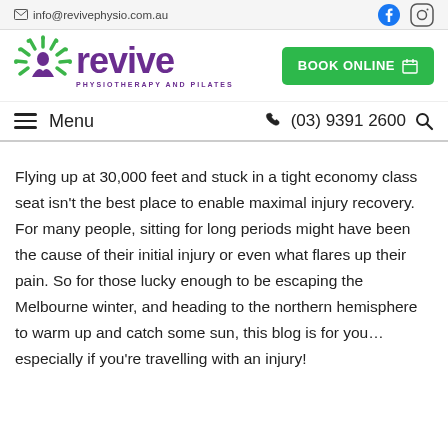info@revivephysio.com.au
[Figure (logo): Revive Physiotherapy and Pilates logo with green starburst icon and purple text]
[Figure (other): BOOK ONLINE button with calendar icon]
Menu  (03) 9391 2600
Flying up at 30,000 feet and stuck in a tight economy class seat isn't the best place to enable maximal injury recovery. For many people, sitting for long periods might have been the cause of their initial injury or even what flares up their pain. So for those lucky enough to be escaping the Melbourne winter, and heading to the northern hemisphere to warm up and catch some sun, this blog is for you… especially if you're travelling with an injury!